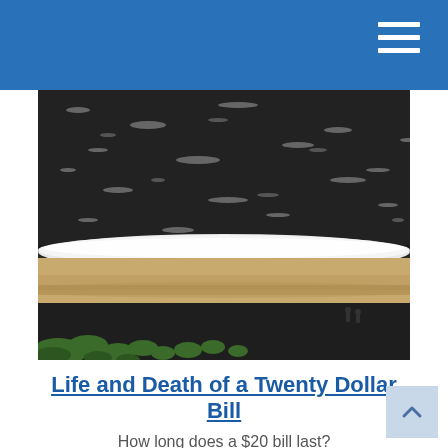[Figure (photo): Aerial photograph of a beach scene showing dark ocean waves with white foam/surf, a sandy shoreline, and dark foreground with green grasses. Two small figures of people visible near the water's edge.]
Life and Death of a Twenty Dollar Bill
How long does a $20 bill last?